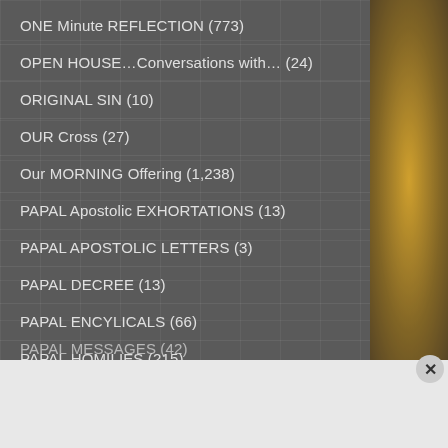ONE Minute REFLECTION (773)
OPEN HOUSE…Conversations with… (24)
ORIGINAL SIN (10)
OUR Cross (27)
Our MORNING Offering (1,238)
PAPAL Apostolic EXHORTATIONS (13)
PAPAL APOSTOLIC LETTERS (3)
PAPAL DECREE (13)
PAPAL ENCYLICALS (66)
PAPAL HOMILIES (215)
Advertisements
[Figure (screenshot): Seamless food delivery advertisement banner with pizza image, Seamless logo, and ORDER NOW button]